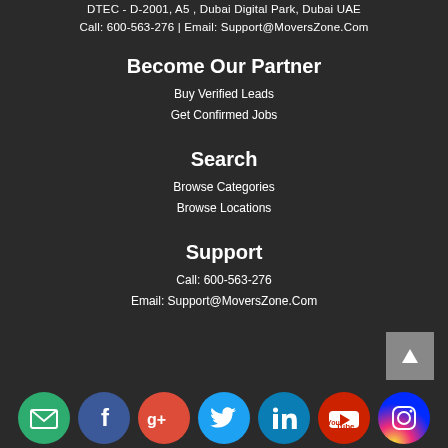DTEC - D-2001, A5 , Dubai Digital Park, Dubai UAE
Call: 600-563-276 | Email: Support@MoversZone.Com
Become Our Partner
Buy Verified Leads
Get Confirmed Jobs
Search
Browse Categories
Browse Locations
Support
Call: 600-563-276
Email: Support@MoversZone.Com
[Figure (infographic): Row of 7 circular social media icons: email (green), Facebook (blue), Google+ (red), Twitter (light blue), LinkedIn (teal), YouTube (red), Instagram (gradient pink/purple). Plus a grey back-to-top button.]